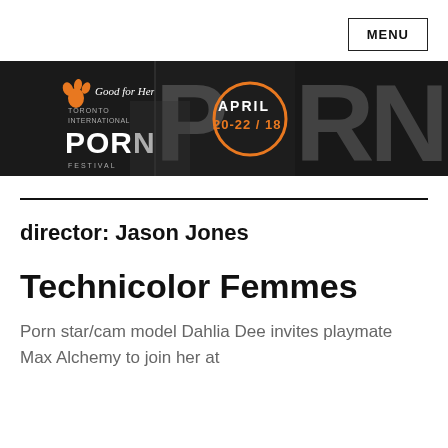MENU
[Figure (photo): Banner image for Good for Her Toronto International Porn Festival, April 20-22/18, showing large stylized text 'PORN' with orange circle graphic and close-up photography on dark background.]
director: Jason Jones
Technicolor Femmes
Porn star/cam model Dahlia Dee invites playmate Max Alchemy to join her at